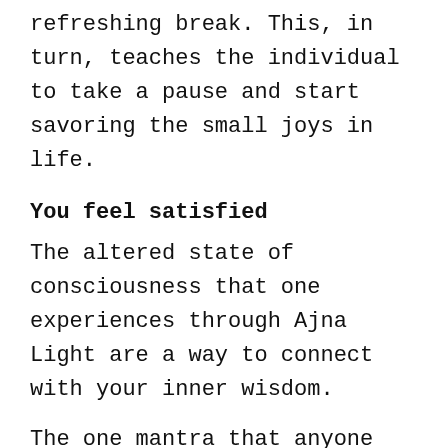refreshing break. This, in turn, teaches the individual to take a pause and start savoring the small joys in life.
You feel satisfied
The altered state of consciousness that one experiences through Ajna Light are a way to connect with your inner wisdom.
The one mantra that anyone learns from this connection is to be satisfied with what they have in life. The mere feeling of satisfaction leads to a surge in the positivity of the body.